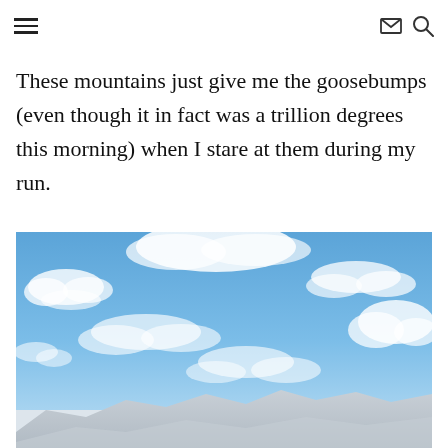Navigation header with hamburger menu, envelope icon, and search icon
These mountains just give me the goosebumps (even though it in fact was a trillion degrees this morning) when I stare at them during my run.
[Figure (photo): Blue sky with scattered white clouds above mountain silhouettes at the bottom]